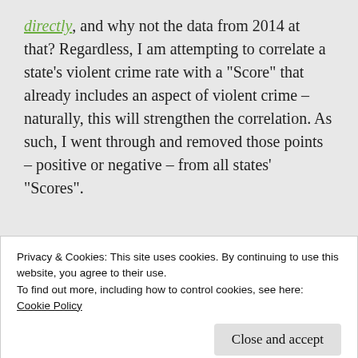directly, and why not the data from 2014 at that? Regardless, I am attempting to correlate a state's violent crime rate with a "Score" that already includes an aspect of violent crime – naturally, this will strengthen the correlation. As such, I went through and removed those points – positive or negative – from all states' "Scores".
[Figure (other): App banner with GET THE APP text and WordPress logo icon]
Privacy & Cookies: This site uses cookies. By continuing to use this website, you agree to their use.
To find out more, including how to control cookies, see here: Cookie Policy